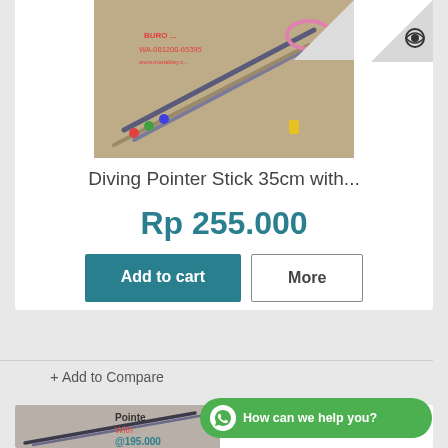[Figure (photo): Product photo of diving pointer sticks on wooden surface, with text overlay showing WA contact number]
Diving Pointer Stick 35cm with...
Rp 255.000
Add to cart
More
In Stock
+ Add to Compare
[Figure (photo): Bottom product card showing pointer stick image with text 'Pointe... With...' and price @195.000]
How can we help you?